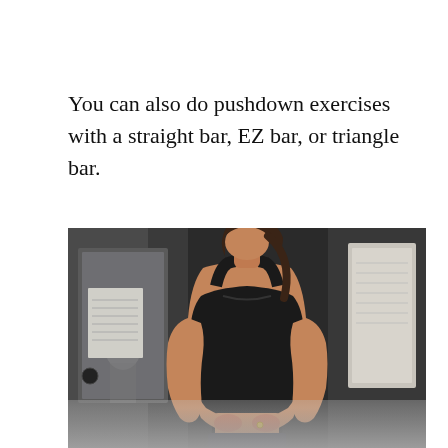You can also do pushdown exercises with a straight bar, EZ bar, or triangle bar.
[Figure (photo): A woman in a black sports top and leggings holding a rope attachment on a cable machine at the gym, viewed from the front/torso up.]